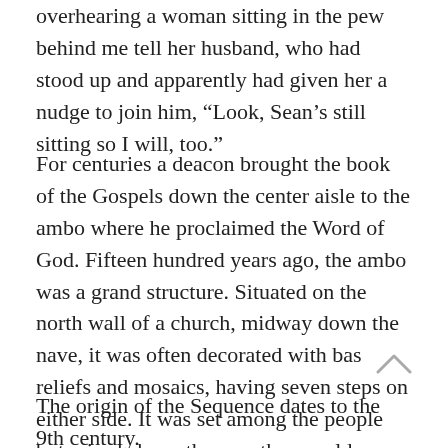overhearing a woman sitting in the pew behind me tell her husband, who had stood up and apparently had given her a nudge to join him, “Look, Sean’s still sitting so I will, too.”
For centuries a deacon brought the book of the Gospels down the center aisle to the ambo where he proclaimed the Word of God. Fifteen hundred years ago, the ambo was a grand structure. Situated on the north wall of a church, midway down the nave, it was often decorated with bas reliefs and mosaics, having seven steps on either side. It was set among the people but raised above them so they could more clearly hear the words of the Gospel — much like a pulpit.
The origin of the Sequence dates to the 9th century. The...